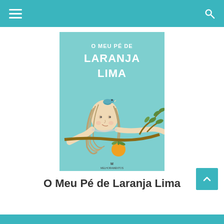Navigation bar with menu and search icons
[Figure (illustration): Book cover of 'O Meu Pé de Laranja Lima' — teal/mint background with hand-drawn white lettering. Illustration of a child resting their head on an orange tree branch, a small blue bird perched on their head, an orange hanging from the branch, with leafy branches extending to the right. Publisher logo 'Melhoramentos' at bottom center.]
O Meu Pé de Laranja Lima
Verifique o preço na Amazon